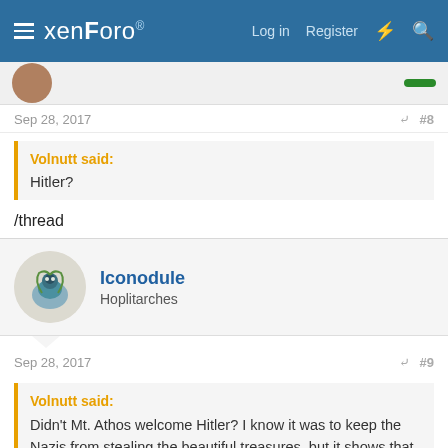xenForo — Log in  Register
Sep 28, 2017  #8
Volnutt said: Hitler?
/thread
Iconodule
Hoplitarches
Sep 28, 2017  #9
Volnutt said: Didn't Mt. Athos welcome Hitler? I know it was to keep the Nazis from stealing the beautiful treasures, but it shows that they used to be